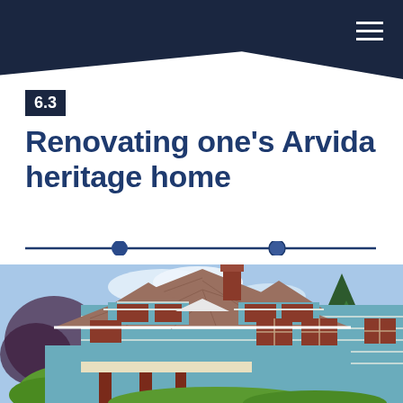6.3
Renovating one’s Arvida heritage home
[Figure (photo): Exterior photo of a blue heritage home with brown roof shingles, white trim, dormer windows, red-brown siding accents, a brick chimney, and surrounding trees under a blue sky.]